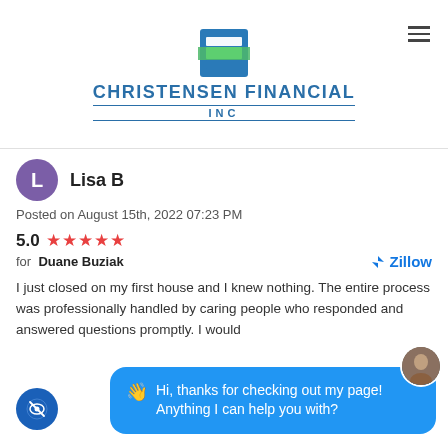[Figure (logo): Christensen Financial Inc logo — blue and green square icon with letter F shape, with company name below in blue uppercase letters]
Lisa B
Posted on August 15th, 2022 07:23 PM
5.0 ★★★★★ for Duane Buziak
I just closed on my first house and I knew nothing. The entire process was professionally handled by cari... who responded a... promptly. I woul...
👋 Hi, thanks for checking out my page! Anything I can help you with?